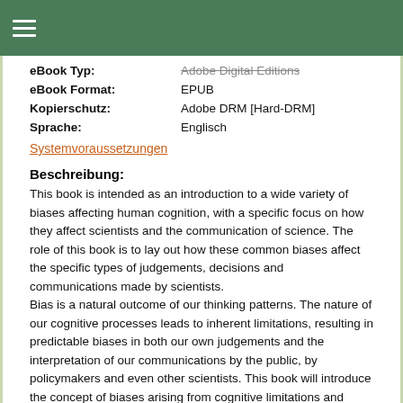☰ (hamburger menu icon)
| eBook Typ: | Adobe Digital Editions |
| eBook Format: | EPUB |
| Kopierschutz: | Adobe DRM [Hard-DRM] |
| Sprache: | Englisch |
Systemvoraussetzungen
Beschreibung:
This book is intended as an introduction to a wide variety of biases affecting human cognition, with a specific focus on how they affect scientists and the communication of science. The role of this book is to lay out how these common biases affect the specific types of judgements, decisions and communications made by scientists.
Bias is a natural outcome of our thinking patterns. The nature of our cognitive processes leads to inherent limitations, resulting in predictable biases in both our own judgements and the interpretation of our communications by the public, by policymakers and even other scientists. This book will introduce the concept of biases arising from cognitive limitations and tendencies with a focus of the implications of this for scientists in particular. It begins with an initial quiz designed to demonstrate key biases – allowing readers to look back at the responses that they provided prior to reading about specific biases and thus see, without the impact of hindsight bias, whether they were susceptible to the